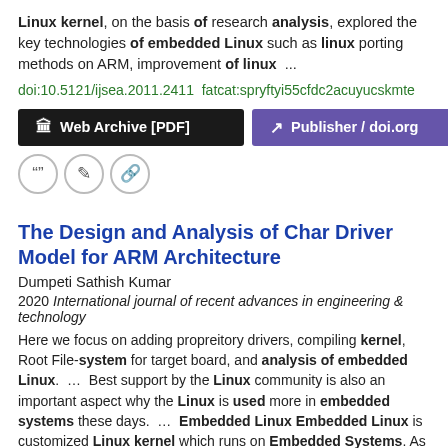Linux kernel, on the basis of research analysis, explored the key technologies of embedded Linux such as linux porting methods on ARM, improvement of linux  ...
doi:10.5121/ijsea.2011.2411  fatcat:spryftyi55cfdc2acuyucskmte
[Figure (other): Two buttons: 'Web Archive [PDF]' (dark/black background) and 'Publisher / doi.org' (purple background)]
[Figure (other): Three icon circle buttons: quote, edit, and link icons]
The Design and Analysis of Char Driver Model for ARM Architecture
Dumpeti Sathish Kumar
2020 International journal of recent advances in engineering & technology
Here we focus on adding propreitory drivers, compiling kernel, Root File-system for target board, and analysis of embedded Linux. …  Best support by the Linux community is also an important aspect why the Linux is used more in embedded systems these days.  …  Embedded Linux Embedded Linux is customized Linux kernel which runs on Embedded Systems. As the Linux is free and open source operating system many embedded systems are running Linux.  ...
doi:10.46564/ijraet.2020.v08i02.004